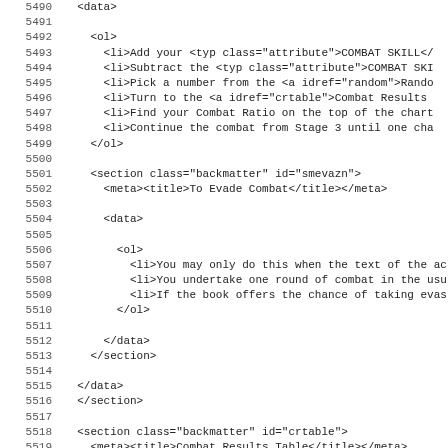Code listing lines 5490-5522 showing XML markup for a game rulebook including ordered lists and section elements for combat mechanics.